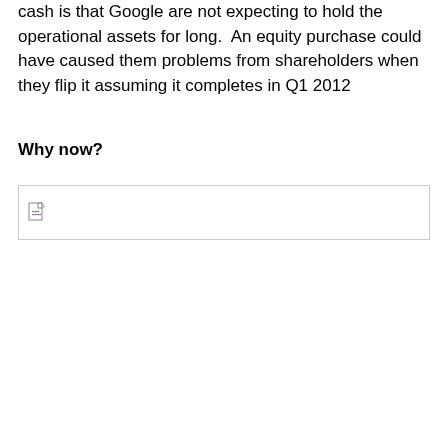cash is that Google are not expecting to hold the operational assets for long.  An equity purchase could have caused them problems from shareholders when they flip it assuming it completes in Q1 2012
Why now?
[Figure (other): Broken/missing image placeholder with document icon]